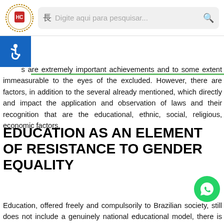Digite aqui para pesquisar...
[Figure (logo): Circular logo with red shield emblem and decorative border]
[Figure (illustration): Blue accessibility icon (wheelchair symbol)]
s are extremely important achievements and to some extent immeasurable to the eyes of the excluded. However, there are factors, in addition to the several already mentioned, which directly and impact the application and observation of laws and their recognition that are the educational, ethnic, social, religious, economic factors.
EDUCATION AS AN ELEMENT OF RESISTANCE TO GENDER EQUALITY
Education, offered freely and compulsorily to Brazilian society, still does not include a genuinely national educational model, there is always some element resulting from external copies
[Figure (illustration): Green WhatsApp floating button icon]